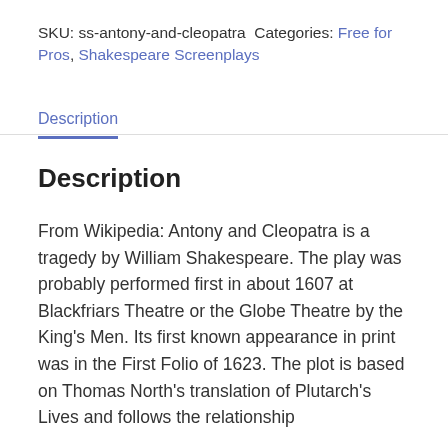SKU: ss-antony-and-cleopatra Categories: Free for Pros, Shakespeare Screenplays
Description
Description
From Wikipedia: Antony and Cleopatra is a tragedy by William Shakespeare. The play was probably performed first in about 1607 at Blackfriars Theatre or the Globe Theatre by the King's Men. Its first known appearance in print was in the First Folio of 1623. The plot is based on Thomas North's translation of Plutarch's Lives and follows the relationship